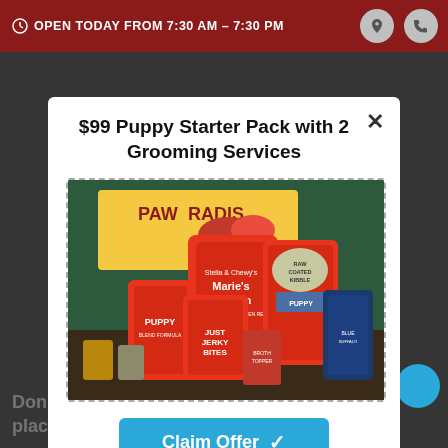OPEN TODAY FROM 7:30 AM - 7:30 PM
$99 Puppy Starter Pack with 2 Grooming Services
[Figure (photo): Photo of pet store products including Stella & Chewy's Marie's Kitchen dog food bag, Raw Coated Kibble Puppy bag, Just Jerky Bites, Broth Topper, and Blue Buffalo treat bag arranged on a table in front of a Paw Radis sign]
Claim Offer ✓
Don't see what you're looking for? Call us to place an order for In-Store